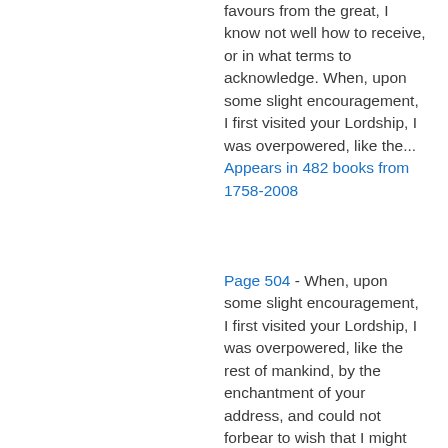favours from the great, I know not well how to receive, or in what terms to acknowledge. When, upon some slight encouragement, I first visited your Lordship, I was overpowered, like the...
Appears in 482 books from 1758-2008
Page 504 - When, upon some slight encouragement, I first visited your Lordship, I was overpowered, like the rest of mankind, by the enchantment of your address, and could not forbear to wish that I might boast myself Le vainqueur du vainqueur